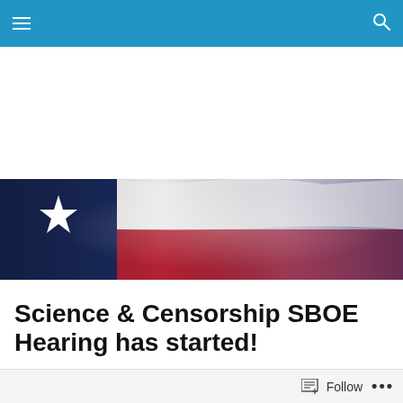Navigation bar with hamburger menu and search icon
[Figure (photo): Texas state flag waving, showing blue field with white star on left, and white and red horizontal stripes on right, against a dark background]
Science & Censorship SBOE Hearing has started!
Posted by jonathansaenz
Follow  ...